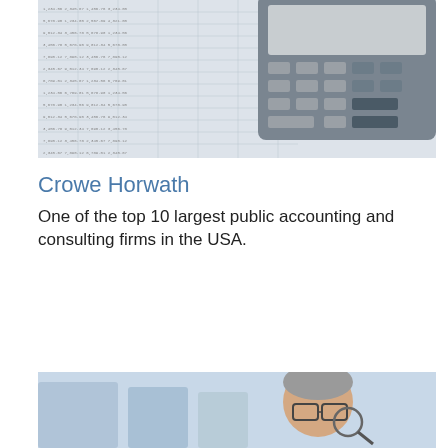[Figure (photo): Photo of a financial spreadsheet with columns of numbers, a calculator, and a pen resting on top — accounting/finance imagery]
Crowe Horwath
One of the top 10 largest public accounting and consulting firms in the USA.
[Figure (photo): Photo of a man with grey hair wearing glasses, looking through a magnifying glass or microscope — partially visible, cropped at bottom of page]